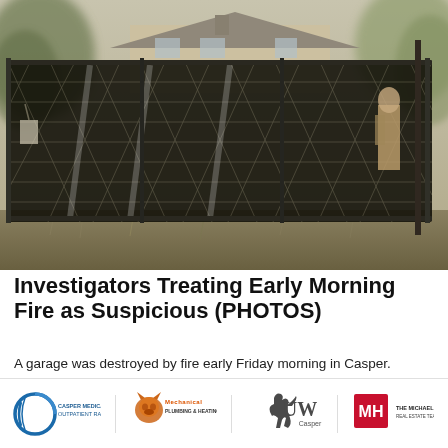[Figure (photo): Photograph of a fire-damaged garage/structure covered with dark netting/tarp and chain-link fencing, with a house visible in the background and trees on either side. A firefighter silhouette visible on the right side.]
Investigators Treating Early Morning Fire as Suspicious (PHOTOS)
A garage was destroyed by fire early Friday morning in Casper. Casper Fire responded to a call around 5:00am in
[Figure (logo): Sponsor logos bar: Casper Medical Imaging & Outpatient Radiology, Mechanical Plumbing & Heating, UW Casper, The Michael Houck Real Estate Team]